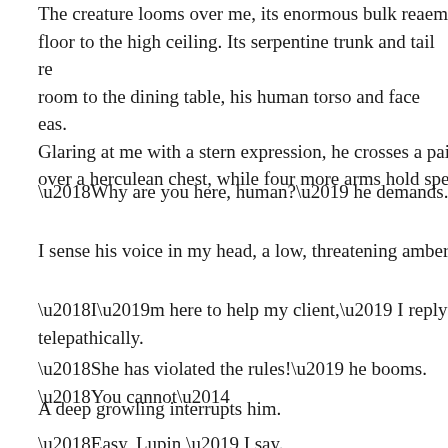The creature looms over me, its enormous bulk reaching from floor to the high ceiling. Its serpentine trunk and tail reach room to the dining table, his human torso and face eas. Glaring at me with a stern expression, he crosses a pai over a herculean chest, while four more arms hold spe
‘Why are you here, human?’ he demands.
I sense his voice in my head, a low, threatening amber
‘I’m here to help my client,’ I reply telepathically.
‘She has violated the rules!’ he booms. ‘You cannot—
A deep growling interrupts him.
‘Easy, Lupin,’ I say.